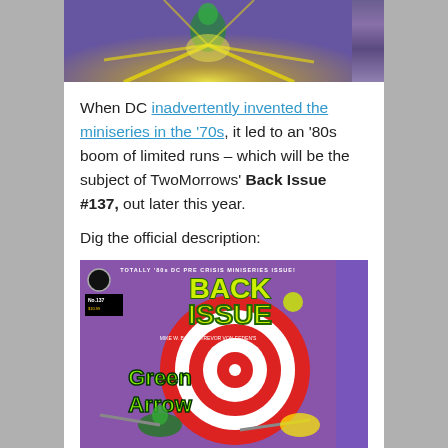[Figure (illustration): Top portion of a comic book page showing a superhero in green costume with yellow energy rays emanating outward, against a purple/dark background. Only the bottom portion of the image is visible.]
When DC inadvertently invented the miniseries in the ‘70s, it led to an ‘80s boom of limited runs – which will be the subject of TwoMorrows’ Back Issue #137, out later this year.
Dig the official description:
[Figure (photo): Cover of Back Issue #137 magazine. Purple background with a circular target/bullseye design. Text reads TOTALLY '80s DC PRE CRISIS MINISERIES ISSUE! BACK ISSUE No.137. Features Green Arrow in green costume with bow, yellow energy effects, guns visible. Mike W. Barr & Trevor Von Eeden's Green Arrow text on cover.]